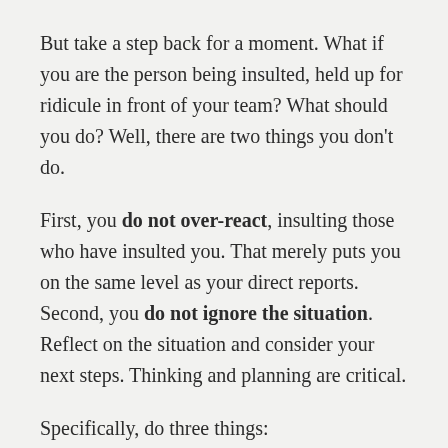But take a step back for a moment. What if you are the person being insulted, held up for ridicule in front of your team? What should you do? Well, there are two things you don't do.
First, you do not over-react, insulting those who have insulted you. That merely puts you on the same level as your direct reports. Second, you do not ignore the situation. Reflect on the situation and consider your next steps. Thinking and planning are critical.
Specifically, do three things:
Examine the context. Consider what is going